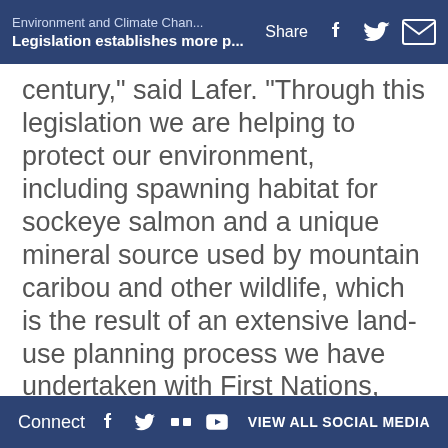Environment and Climate Chan... | Legislation establishes more p... | Share
century, said Lafer. Through this legislation we are helping to protect our environment, including spawning habitat for sockeye salmon and a unique mineral source used by mountain caribou and other wildlife, which is the result of an extensive land-use planning process we have undertaken with First Nations, stakeholders and the public."
Central to the legislation is the Cariboo-Chilcotin Land-Use Plan Goal 2 process related to special natural, cultural and recreational features which results in the establishment of 17 new Class A parks and additions to five
Connect | VIEW ALL SOCIAL MEDIA